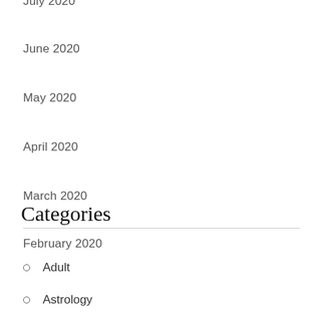July 2020
June 2020
May 2020
April 2020
March 2020
February 2020
Categories
Adult
Astrology